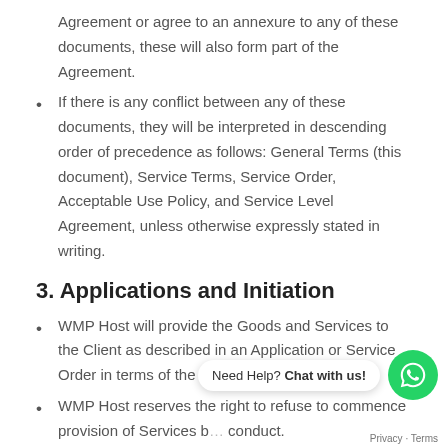Agreement or agree to an annexure to any of these documents, these will also form part of the Agreement.
If there is any conflict between any of these documents, they will be interpreted in descending order of precedence as follows: General Terms (this document), Service Terms, Service Order, Acceptable Use Policy, and Service Level Agreement, unless otherwise expressly stated in writing.
3. Applications and Initiation
WMP Host will provide the Goods and Services to the Client as described in an Application or Service Order in terms of the Agreement.
WMP Host reserves the right to refuse to commence provision of Services b… conduct.
An Application must be submitted via the WMP Host